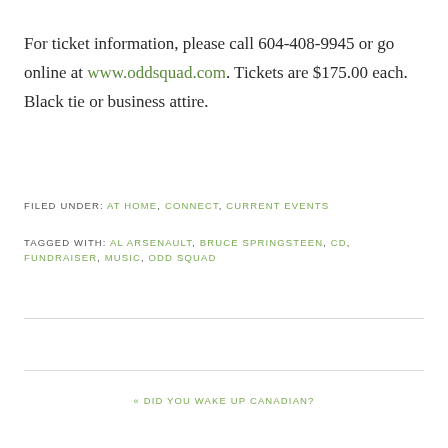For ticket information, please call 604-408-9945 or go online at www.oddsquad.com. Tickets are $175.00 each. Black tie or business attire.
FILED UNDER: AT HOME, CONNECT, CURRENT EVENTS
TAGGED WITH: AL ARSENAULT, BRUCE SPRINGSTEEN, CD, FUNDRAISER, MUSIC, ODD SQUAD
« DID YOU WAKE UP CANADIAN?